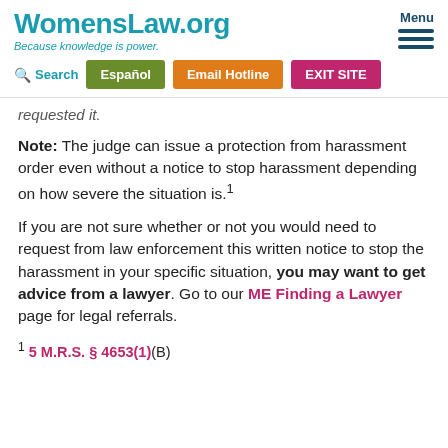WomensLaw.org — Because knowledge is power. | Menu | Search | Español | Email Hotline | EXIT SITE
requested it.
Note: The judge can issue a protection from harassment order even without a notice to stop harassment depending on how severe the situation is.¹
If you are not sure whether or not you would need to request from law enforcement this written notice to stop the harassment in your specific situation, you may want to get advice from a lawyer. Go to our ME Finding a Lawyer page for legal referrals.
¹ 5 M.R.S. § 4653(1)(B)